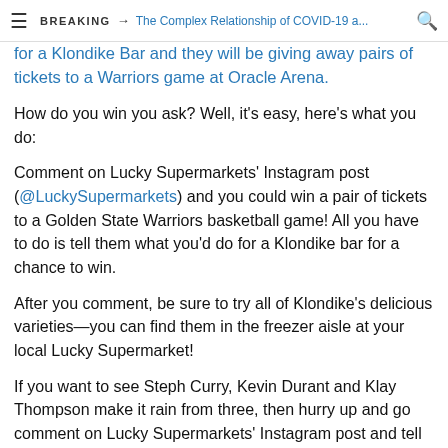BREAKING → The Complex Relationship of COVID-19 a...
for a Klondike Bar and they will be giving away pairs of tickets to a Warriors game at Oracle Arena.
How do you win you ask? Well, it's easy, here's what you do:
Comment on Lucky Supermarkets' Instagram post (@LuckySupermarkets) and you could win a pair of tickets to a Golden State Warriors basketball game! All you have to do is tell them what you'd do for a Klondike bar for a chance to win.
After you comment, be sure to try all of Klondike's delicious varieties—you can find them in the freezer aisle at your local Lucky Supermarket!
If you want to see Steph Curry, Kevin Durant and Klay Thompson make it rain from three, then hurry up and go comment on Lucky Supermarkets' Instagram post and tell them what you are willing to do for a Klondike Bar.
What I would do? That's easy, I would walk through the Sahara Desert without water to get a taste of the chocolate goodness.